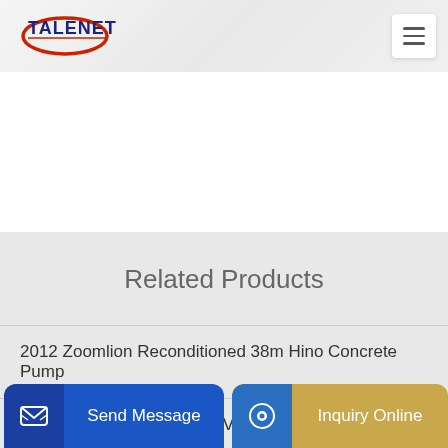[Figure (logo): Talenet company logo with red swoosh and dark blue text]
[Figure (other): Hamburger menu icon (three horizontal lines) in white box]
Related Products
2012 Zoomlion Reconditioned 38m Hino Concrete Pump
Concrete mixer trucks VOLVO Auction air conditioner from France
3...ent C...l
Send Message
Inquiry Online